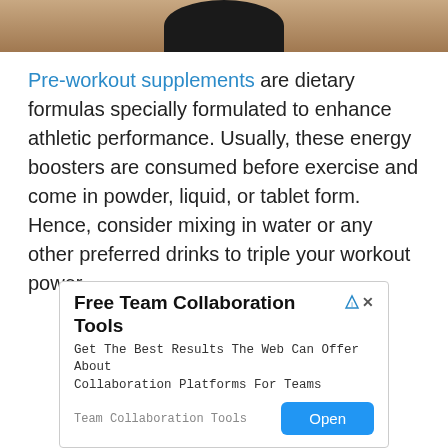[Figure (photo): Partial top image showing a dark container/bottle on a tan/brown background, cropped at top of page]
Pre-workout supplements are dietary formulas specially formulated to enhance athletic performance. Usually, these energy boosters are consumed before exercise and come in powder, liquid, or tablet form. Hence, consider mixing in water or any other preferred drinks to triple your workout power.
[Figure (screenshot): Advertisement banner: Free Team Collaboration Tools - Get The Best Results The Web Can Offer About Collaboration Platforms For Teams. Team Collaboration Tools. Open button.]